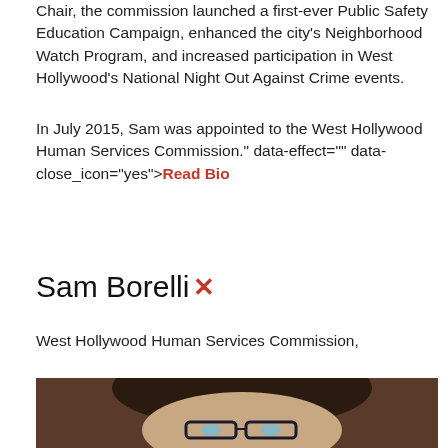Chair, the commission launched a first-ever Public Safety Education Campaign, enhanced the city's Neighborhood Watch Program, and increased participation in West Hollywood's National Night Out Against Crime events.
In July 2015, Sam was appointed to the West Hollywood Human Services Commission." data-effect="" data-close_icon="yes">Read Bio
Sam Borelli
West Hollywood Human Services Commission,
[Figure (photo): Headshot of Sam Borelli, a woman with dark hair and glasses, photographed against a warm dark background.]